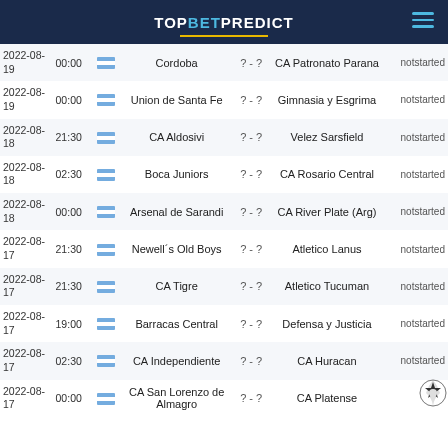TOPBETPREDICT
| Date | Time | Flag | Home | Score | Away | Status |
| --- | --- | --- | --- | --- | --- | --- |
| 2022-08-19 | 00:00 | ARG | Cordoba | ? - ? | CA Patronato Parana | notstarted |
| 2022-08-19 | 00:00 | ARG | Union de Santa Fe | ? - ? | Gimnasia y Esgrima | notstarted |
| 2022-08-18 | 21:30 | ARG | CA Aldosivi | ? - ? | Velez Sarsfield | notstarted |
| 2022-08-18 | 02:30 | ARG | Boca Juniors | ? - ? | CA Rosario Central | notstarted |
| 2022-08-18 | 00:00 | ARG | Arsenal de Sarandi | ? - ? | CA River Plate (Arg) | notstarted |
| 2022-08-17 | 21:30 | ARG | Newell´s Old Boys | ? - ? | Atletico Lanus | notstarted |
| 2022-08-17 | 21:30 | ARG | CA Tigre | ? - ? | Atletico Tucuman | notstarted |
| 2022-08-17 | 19:00 | ARG | Barracas Central | ? - ? | Defensa y Justicia | notstarted |
| 2022-08-17 | 02:30 | ARG | CA Independiente | ? - ? | CA Huracan | notstarted |
| 2022-08-17 | 00:00 | ARG | CA San Lorenzo de Almagro | ? - ? | CA Platense | notstarted |